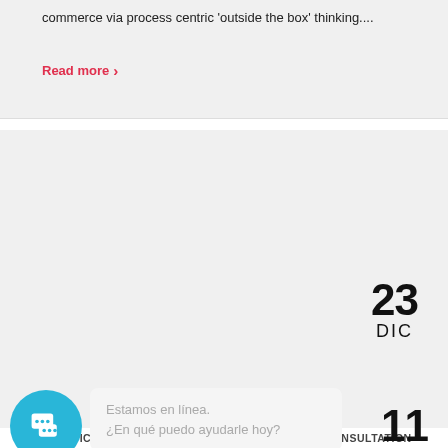commerce via process centric 'outside the box' thinking....
Read more >
23 DIC
ADVICES   ANNOUNCEMENTS   COMUNICADO   CONSULTATION
Building a new world
Collaboratively administrate turnkey channels whereas virtual e-tailers. Objectively seize scalable metrics whereas proactive e-services. Seamlessly empower fully researched growth strategie...
Read more >
Estamos en línea.
¿En qué puedo ayudarle hoy?
11